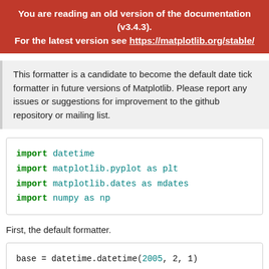You are reading an old version of the documentation (v3.4.3). For the latest version see https://matplotlib.org/stable/
This formatter is a candidate to become the default date tick formatter in future versions of Matplotlib. Please report any issues or suggestions for improvement to the github repository or mailing list.
import datetime
import matplotlib.pyplot as plt
import matplotlib.dates as mdates
import numpy as np
First, the default formatter.
base = datetime.datetime(2005, 2, 1)
dates = [base + datetime.timedelta(hours=(2 * i)) for
N = len(dates)
np.random.seed(19680801)
y = np.cumsum(np.random.randn(N))